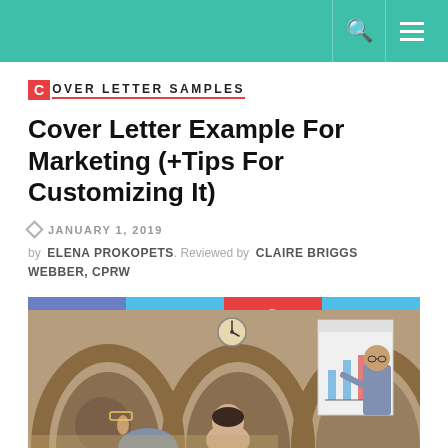Navigation bar with search and menu icons
COVER LETTER SAMPLES
Cover Letter Example For Marketing (+Tips For Customizing It)
JANUARY 1, 2019
by ELENA PROKOPETS. Reviewed by CLAIRE BRIGGS WEBBER, CPRW
[Figure (infographic): Social share buttons: FACEBOOK, Twitter, Pinterest, LinkedIn]
[Figure (photo): Photo of a business presentation scene with people in a brick-walled room with arched ceiling. A man stands at a whiteboard presenting while others sit and watch. A clock is visible on the wall.]